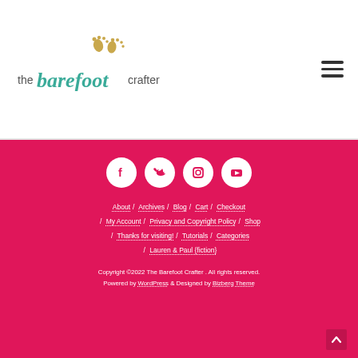[Figure (logo): The Barefoot Crafter logo with teal script font and gold footprint icons]
[Figure (other): Hamburger menu icon (three horizontal lines) in top right corner]
[Figure (other): Footer with four social media icons (Facebook, Twitter, Instagram, YouTube) as white circles on pink background]
About / Archives / Blog / Cart / Checkout / My Account / Privacy and Copyright Policy / Shop / Thanks for visiting! / Tutorials / Categories / Lauren & Paul {fiction}
Copyright ©2022 The Barefoot Crafter . All rights reserved.
Powered by WordPress & Designed by Bizberg Theme